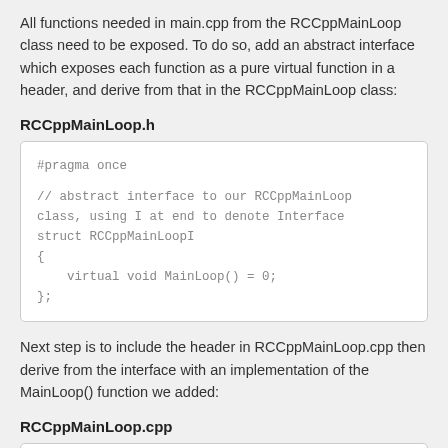All functions needed in main.cpp from the RCCppMainLoop class need to be exposed. To do so, add an abstract interface which exposes each function as a pure virtual function in a header, and derive from that in the RCCppMainLoop class:
RCCppMainLoop.h
[Figure (screenshot): Code block showing RCCppMainLoop.h header file content: #pragma once, // abstract interface to our RCCppMainLoop class using I at end to denote Interface, struct RCCppMainLoopI, {, virtual void MainLoop() = 0;, };]
Next step is to include the header in RCCppMainLoop.cpp then derive from the interface with an implementation of the MainLoop() function we added:
RCCppMainLoop.cpp
[Figure (screenshot): Code block showing beginning of RCCppMainLoop.cpp: struct RCCppMainLoop : RCCppMainLoopI, TIn...]